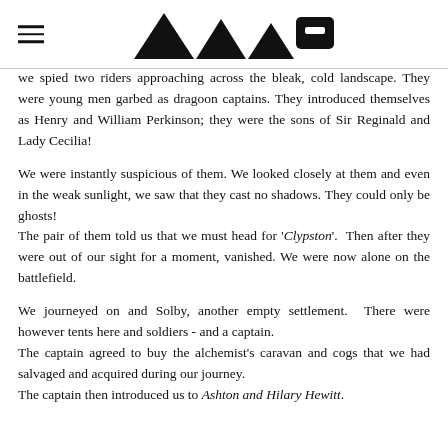[logo: four triangles and a pentagon-head figure]
we spied two riders approaching across the bleak, cold landscape. They were young men garbed as dragoon captains. They introduced themselves as Henry and William Perkinson; they were the sons of Sir Reginald and Lady Cecilia!
We were instantly suspicious of them. We looked closely at them and even in the weak sunlight, we saw that they cast no shadows. They could only be ghosts!
The pair of them told us that we must head for 'Clypston'. Then after they were out of our sight for a moment, vanished. We were now alone on the battlefield.
We journeyed on and Solby, another empty settlement. There were however tents here and soldiers - and a captain.
The captain agreed to buy the alchemist's caravan and cogs that we had salvaged and acquired during our journey.
The captain then introduced us to Ashton and Hilary Hewitt.